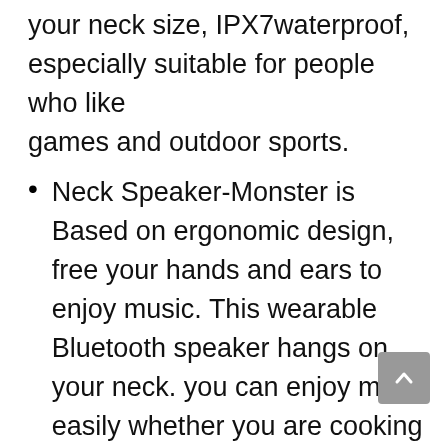your neck size, IPX7waterproof, especially suitable for people who like games and outdoor sports.
Neck Speaker-Monster is Based on ergonomic design, free your hands and ears to enjoy music. This wearable Bluetooth speaker hangs on your neck. you can enjoy music easily whether you are cooking or doing outdoor sports, such as walking, biking, climbing, etc. Enjoy music, HIFI calls, and still stay in touch the surroundings.
Neck Speakers Bluetooth wireless-